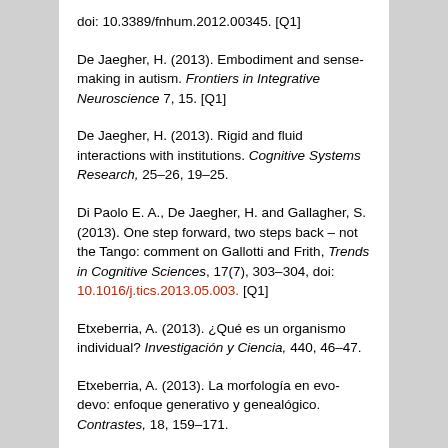doi: 10.3389/fnhum.2012.00345. [Q1]
De Jaegher, H. (2013). Embodiment and sense-making in autism. Frontiers in Integrative Neuroscience 7, 15. [Q1]
De Jaegher, H. (2013). Rigid and fluid interactions with institutions. Cognitive Systems Research, 25–26, 19–25.
Di Paolo E. A., De Jaegher, H. and Gallagher, S. (2013). One step forward, two steps back – not the Tango: comment on Gallotti and Frith, Trends in Cognitive Sciences, 17(7), 303–304, doi: 10.1016/j.tics.2013.05.003. [Q1]
Etxeberria, A. (2013). ¿Qué es un organismo individual? Investigación y Ciencia, 440, 46–47.
Etxeberria, A. (2013). La morfología en evo-devo: enfoque generativo y genealógico. Contrastes, 18, 159–171.
Hu, X-B, Wang, M. and Di Paolo, E. A. (2013). Calculating